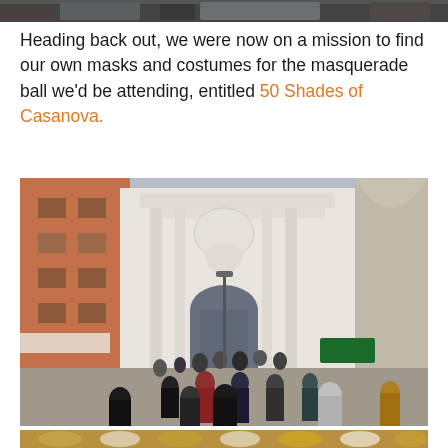[Figure (photo): Partial view of a photo at top of page, dark/muted tones]
Heading back out, we were now on a mission to find our own masks and costumes for the masquerade ball we'd be attending, entitled 50 Shades of Casanova.
[Figure (photo): Street scene in Venice showing a crowded pedestrian street with people walking toward an ornate white baroque church facade, buildings on either side, carnival costumes visible in the crowd]
[Figure (photo): Partial view of a photo at bottom showing carnival masks displayed for sale]